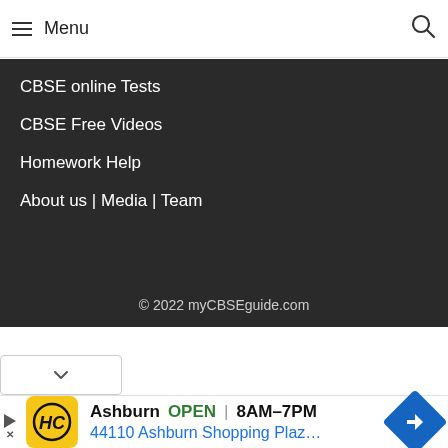≡ Menu
CBSE online Tests
CBSE Free Videos
Homework Help
About us | Media | Team
© 2022 myCBSEguide.com
[Figure (screenshot): Dropdown chevron button]
[Figure (infographic): Advertisement banner: HC logo, Ashburn OPEN 8AM-7PM, 44110 Ashburn Shopping Plaz..., navigation arrow icon]